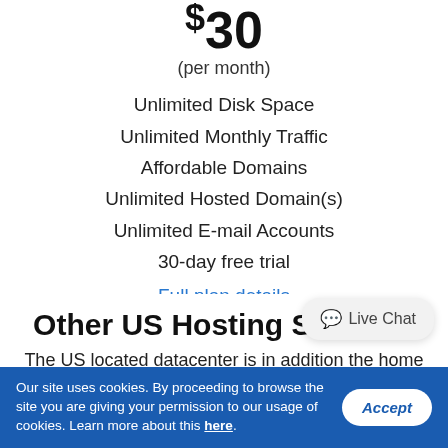$30
(per month)
Unlimited Disk Space
Unlimited Monthly Traffic
Affordable Domains
Unlimited Hosted Domain(s)
Unlimited E-mail Accounts
30-day free trial
Full plan details
[Figure (other): Blue rounded button labeled 'Start Free Trial']
Other US Hosting Services
The US located datacenter is in addition the home of a few
Our site uses cookies. By proceeding to browse the site you are giving your permission to our usage of cookies. Learn more about this here.